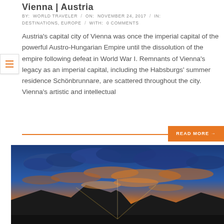Vienna | Austria
BY: WORLD TRAVELER / ON: NOVEMBER 24, 2017 / IN: DESTINATIONS, EUROPE / WITH: 0 COMMENTS
Austria's capital city of Vienna was once the imperial capital of the powerful Austro-Hungarian Empire until the dissolution of the empire following defeat in World War I. Remnants of Vienna's legacy as an imperial capital, including the Habsburgs' summer residence Schönbrunnare, are scattered throughout the city. Vienna's artistic and intellectual
READ MORE →
[Figure (photo): Dramatic sunset sky with orange and gold light at the horizon, silhouetted mountains, and clouds lit from below against a deep blue sky.]